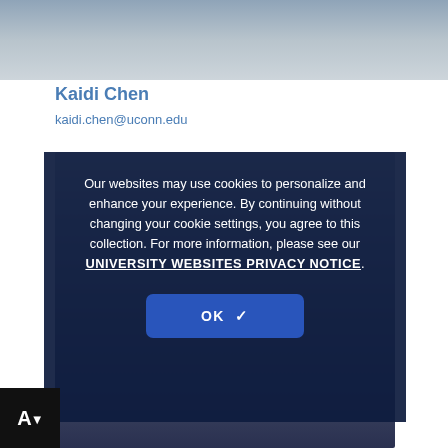[Figure (photo): Top portion of a person's photo, showing upper body in a dark jacket outdoors]
Kaidi Chen
kaidi.chen@uconn.edu
[Figure (photo): Background photo of a person partially visible behind a cookie consent modal overlay]
Our websites may use cookies to personalize and enhance your experience. By continuing without changing your cookie settings, you agree to this collection. For more information, please see our UNIVERSITY WEBSITES PRIVACY NOTICE.
OK ✓
[Figure (logo): Black square logo with white letter A and downward arrow]